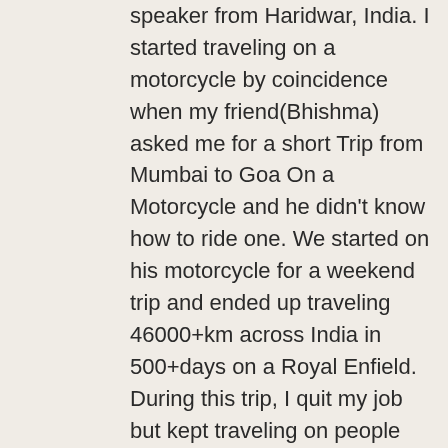speaker from Haridwar, India. I started traveling on a motorcycle by coincidence when my friend(Bhishma) asked me for a short Trip from Mumbai to Goa On a Motorcycle and he didn't know how to ride one. We started on his motorcycle for a weekend trip and ended up traveling 46000+km across India in 500+days on a Royal Enfield. During this trip, I quit my job but kept traveling on people generosity. After my India tour, I started a crowdfunding campaign for Europe Trip and Traveled 16,000 Km across 18 European countries on a 25-year-old motorcycle using the Crowdfunded money. I saved some money (using Couch surfing )during my Europe trip. I got sponsored